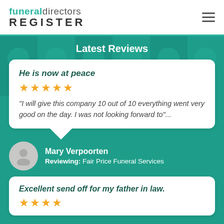funeral directors REGISTER
Latest Reviews
He is now at peace
★★★★★
"I will give this company 10 out of 10 everything went very good on the day. I was not looking forward to"...
Mary Verpoorten
Reviewing: Fair Price Funeral Services
Excellent send off for my father in law.
★★★★